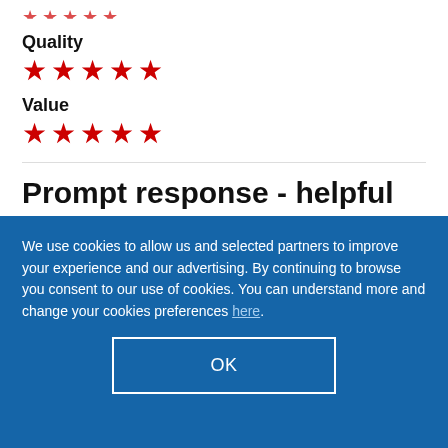[Figure (other): Partial red star rating (cut off at top)]
Quality
[Figure (other): 5 red stars for Quality rating]
Value
[Figure (other): 5 red stars for Value rating]
Prompt response - helpful
We use cookies to allow us and selected partners to improve your experience and our advertising. By continuing to browse you consent to our use of cookies. You can understand more and change your cookies preferences here.
OK